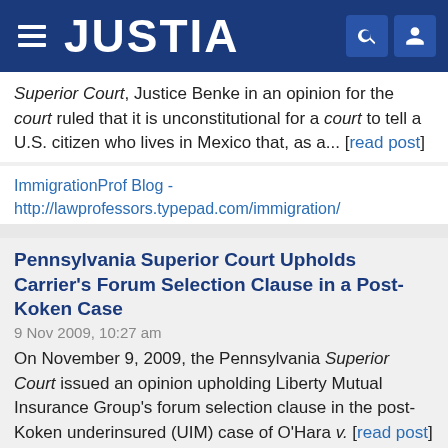[Figure (logo): Justia website header with logo, hamburger menu, search and user icons]
Superior Court, Justice Benke in an opinion for the court ruled that it is unconstitutional for a court to tell a U.S. citizen who lives in Mexico that, as a... [read post]
ImmigrationProf Blog - http://lawprofessors.typepad.com/immigration/
Pennsylvania Superior Court Upholds Carrier's Forum Selection Clause in a Post-Koken Case
9 Nov 2009, 10:27 am
On November 9, 2009, the Pennsylvania Superior Court issued an opinion upholding Liberty Mutual Insurance Group's forum selection clause in the post-Koken underinsured (UIM) case of O'Hara v. [read post]
Tort Talk - http://www.torttalk.com/